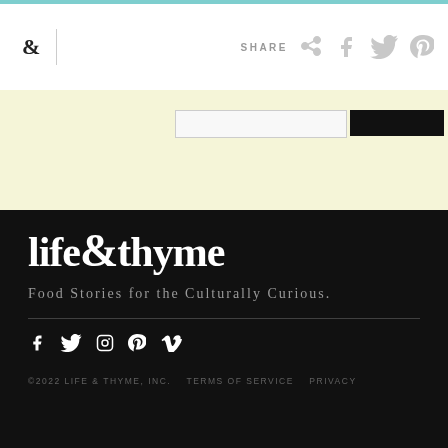& SHARE
[Figure (screenshot): Input field and dark subscribe button in a pale yellow band]
[Figure (logo): Life & Thyme logo in white serif font on dark background]
Food Stories for the Culturally Curious.
[Figure (infographic): Social media icons: Facebook, Twitter, Instagram, Pinterest, Vimeo in white on dark background]
©2022 LIFE & THYME, INC.   TERMS OF SERVICE   PRIVACY